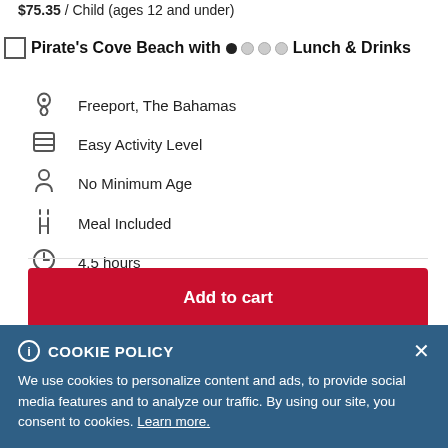$75.35 / Child (ages 12 and under)
Pirate's Cove Beach with Lunch & Drinks
Freeport, The Bahamas
Easy Activity Level
No Minimum Age
Meal Included
4.5 hours
Add to cart
Find a Cruise
COOKIE POLICY
We use cookies to personalize content and ads, to provide social media features and to analyze our traffic. By using our site, you consent to cookies. Learn more.